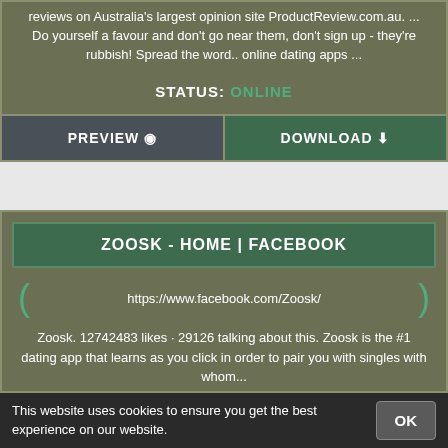reviews on Australia's largest opinion site ProductReview.com.au. ... Do yourself a favour and don't go near them, don't sign up - they're rubbish! Spread the word.. online dating apps ...
STATUS: ONLINE
PREVIEW  DOWNLOAD
ZOOSK - HOME | FACEBOOK
https://www.facebook.com/Zoosk/
Zoosk. 12742483 likes · 29126 talking about this. Zoosk is the #1 dating app that learns as you click in order to pair you with singles with whom...
STATUS: ONLINE
This website uses cookies to ensure you get the best experience on our website.